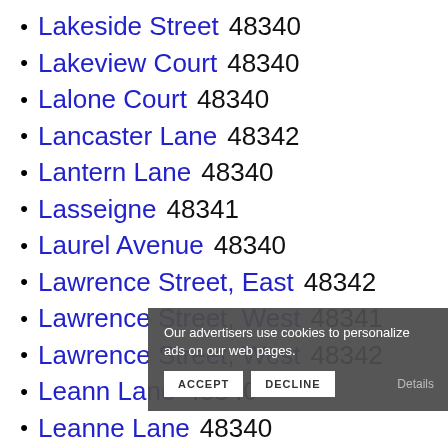Lakeside Street  48340
Lakeview Court  48340
Lalone Court  48340
Lancaster Lane  48342
Lantern Lane  48340
Lasseigne  48341
Laurel Avenue  48340
Lawrence Street, East  48342
Lawrence Street, West  48341
Lawrence Street, West  48342
Leann Lane  48340
Leanne Lane  48340
Lebaron Avenue  48340